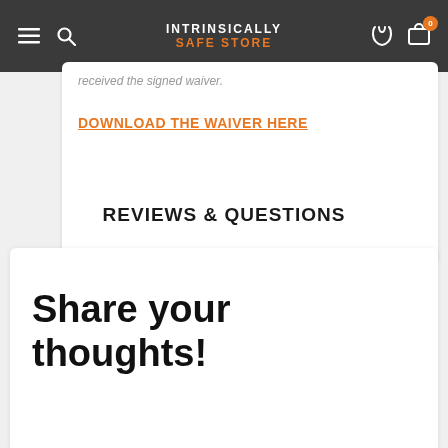INTRINSICALLY SAFE STORE
received the signed waiver.
DOWNLOAD THE WAIVER HERE
REVIEWS & QUESTIONS
Share your thoughts!